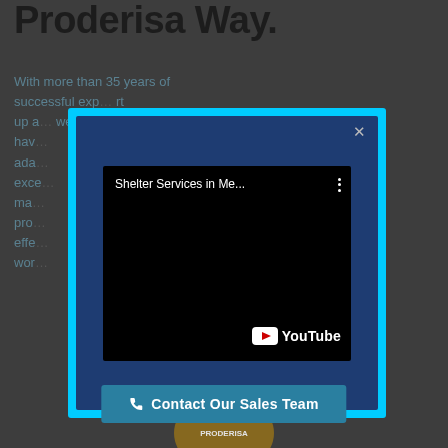Proderisa Way.
With more than 35 years of successful exp... rt up a... we hav... ada... exce... ma... o pro... to effe... e. wor...
[Figure (screenshot): YouTube video modal popup with cyan/light-blue border over a dark navy background, showing a paused YouTube video titled 'Shelter Services in Me...' with a close (x) button in the top-right corner of the modal.]
Contact Our Sales Team